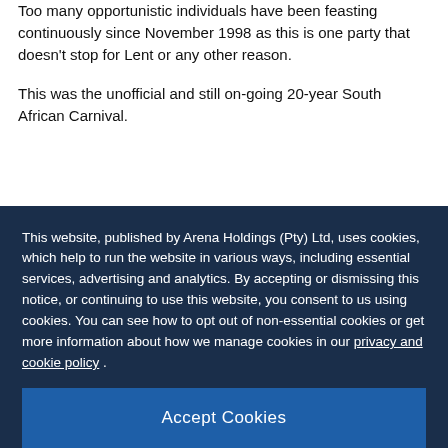Too many opportunistic individuals have been feasting continuously since November 1998 as this is one party that doesn't stop for Lent or any other reason.
This was the unofficial and still on-going 20-year South African Carnival.
This website, published by Arena Holdings (Pty) Ltd, uses cookies, which help to run the website in various ways, including essential services, advertising and analytics. By accepting or dismissing this notice, or continuing to use this website, you consent to us using cookies. You can see how to opt out of non-essential cookies or get more information about how we manage cookies in our privacy and cookie policy .
Accept Cookies